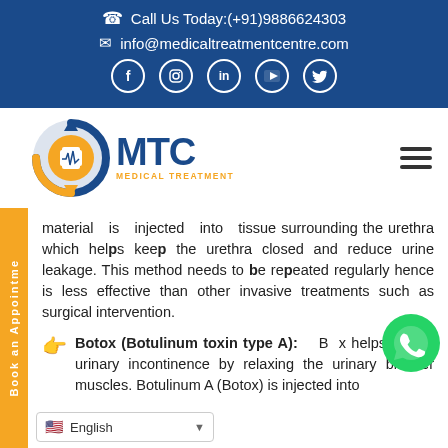☎ Call Us Today:(+91)9886624303
✉ info@medicaltreatmentcentre.com
f  in  yt  tw
[Figure (logo): MTC Medical Treatment Centre logo with circular blue and orange emblem and hamburger menu icon]
material is injected into tissue surrounding the urethra which helps keep the urethra closed and reduce urine leakage. This method needs to be repeated regularly hence is less effective than other invasive treatments such as surgical intervention.
Botox (Botulinum toxin type A): Botox helps relieve urinary incontinence by relaxing the urinary bladder muscles. Botulinum A (Botox) is injected into
English